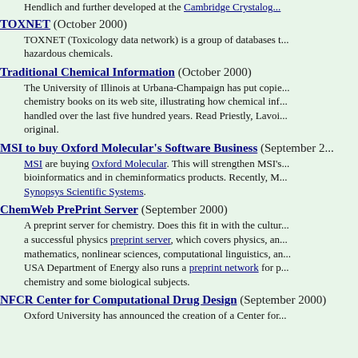Hendlich and further developed at the Cambridge Crystallog...
TOXNET (October 2000) — TOXNET (Toxicology data network) is a group of databases [...] hazardous chemicals.
Traditional Chemical Information (October 2000) — The University of Illinois at Urbana-Champaign has put copies of chemistry books on its web site, illustrating how chemical information was handled over the last five hundred years. Read Priestly, Lavoi... original.
MSI to buy Oxford Molecular's Software Business (September 2...) — MSI are buying Oxford Molecular. This will strengthen MSI's [...] bioinformatics and in cheminformatics products. Recently, M... Synopsys Scientific Systems.
ChemWeb PrePrint Server (September 2000) — A preprint server for chemistry. Does this fit in with the cultur... a successful physics preprint server, which covers physics, an... mathematics, nonlinear sciences, computational linguistics, ar... USA Department of Energy also runs a preprint network for p... chemistry and some biological subjects.
NFCR Center for Computational Drug Design (September 2000) — Oxford University has announced the creation of a Center for...